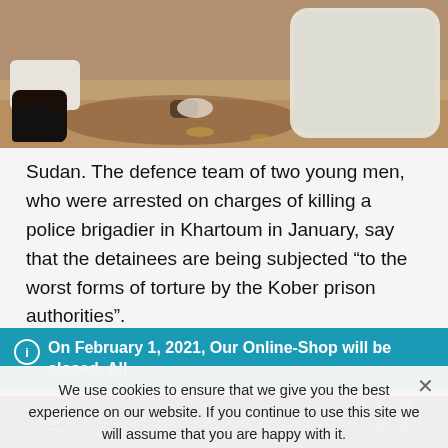[Figure (photo): A photograph showing a person's hand and arm with a white sleeve lying on the ground, and a white animal or object to the right, on sandy/earthy ground.]
Sudan. The defence team of two young men, who were arrested on charges of killing a police brigadier in Khartoum in January, say that the detainees are being subjected “to the worst forms of torture by the Kober prison authorities”.
On February 1, 2021, Our Online-Shop will be closed. All orders until January 31 will be delivered
Dismiss
We use cookies to ensure that we give you the best experience on our website. If you continue to use this site we will assume that you are happy with it.
Ok